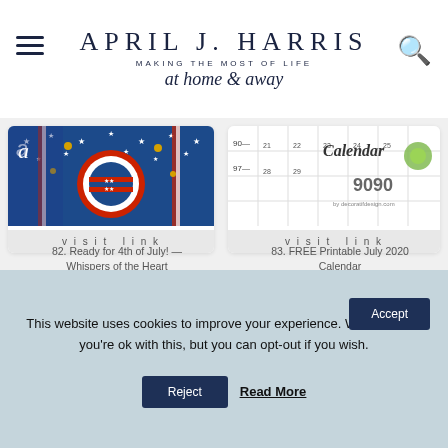APRIL J. HARRIS — MAKING THE MOST OF LIFE at home & away
[Figure (photo): 4th of July patriotic table setting with American flag plate on blue star background]
visit link
82. Ready for 4th of July! — Whispers of the Heart
[Figure (photo): FREE Printable July 2020 Calendar from decoratidesign.com]
visit link
83. FREE Printable July 2020 Calendar
[Figure (photo): Green leaf-shaped bowl with olives next to orange textured food on a plate]
[Figure (photo): Mix (DIY Bisquick) text on wooden board with flour in a pan]
This website uses cookies to improve your experience. We'll assume you're ok with this, but you can opt-out if you wish.
Accept
Reject
Read More